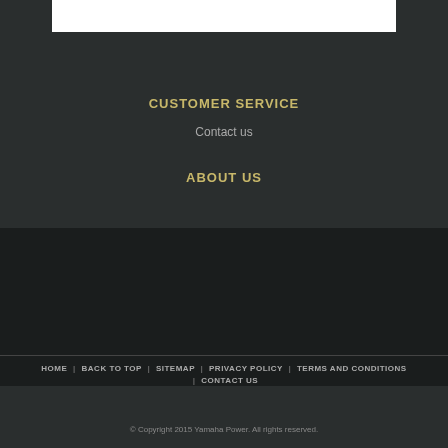CUSTOMER SERVICE
Contact us
ABOUT US
HOME | BACK TO TOP | SITEMAP | PRIVACY POLICY | TERMS AND CONDITIONS | CONTACT US
© Copyright 2015 Yamaha Power. All rights reserved.